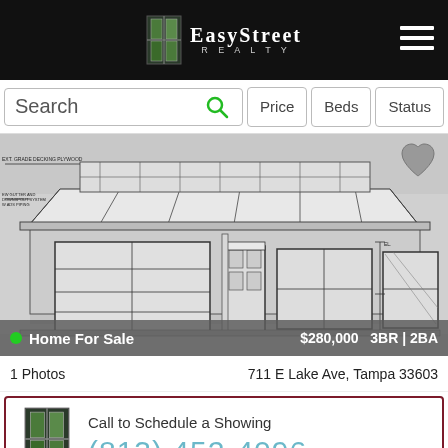[Figure (logo): EasyStreet Realty logo with door icon on black header bar]
[Figure (screenshot): Search bar with Price, Beds, Status filter buttons]
[Figure (engineering-diagram): Architectural front elevation drawing of a house with garage, front door, windows, and roof structure annotations]
Home For Sale   $280,000   3BR | 2BA
1 Photos   711 E Lake Ave, Tampa 33603
Call to Schedule a Showing
(813) 452-4096